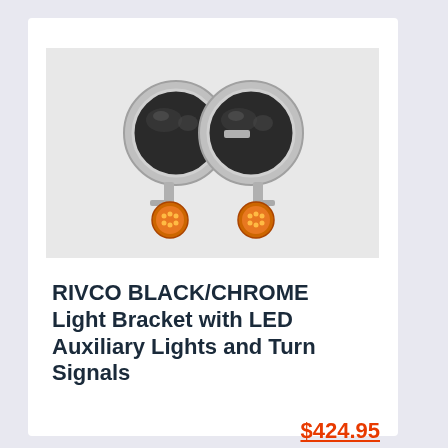[Figure (photo): Two RIVCO black and chrome auxiliary lights with orange LED turn signals hanging below, mounted together on a bracket, photographed against a light gray background.]
RIVCO BLACK/CHROME Light Bracket with LED Auxiliary Lights and Turn Signals
$424.95